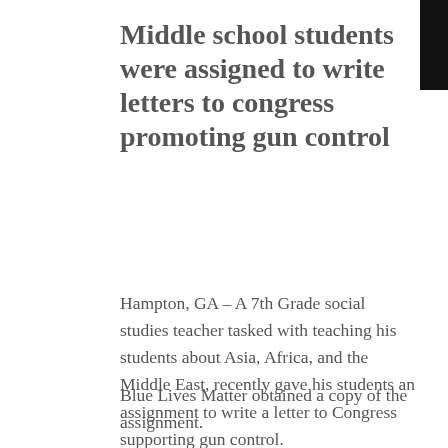Middle school students were assigned to write letters to congress promoting gun control
Hampton, GA – A 7th Grade social studies teacher tasked with teaching his students about Asia, Africa, and the Middle East, recently gave his students an assignment to write a letter to Congress supporting gun control.
Blue Lives Matter obtained a copy of the assignment.